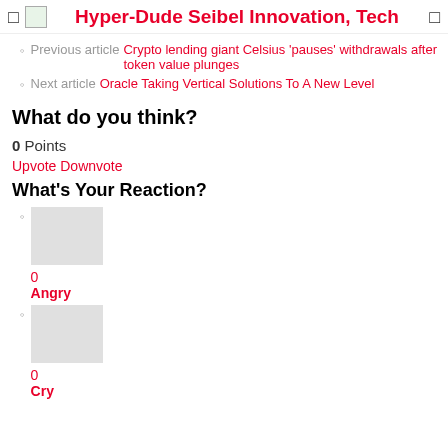Hyper-Dude Seibel Innovation, Tech
Previous article Crypto lending giant Celsius 'pauses' withdrawals after token value plunges
Next article Oracle Taking Vertical Solutions To A New Level
What do you think?
0 Points
Upvote Downvote
What's Your Reaction?
0 Angry
0 Cry